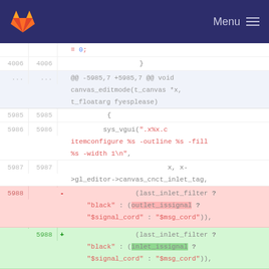GitLab — Menu
= 0;
4006  4006     }
...   ...   @@ -5985,7 +5985,7 @@ void canvas_editmode(t_canvas *x, t_floatarg fyesplease)
5985  5985     {
5986  5986         sys_vgui(".x%x.c itemconfigure %s -outline %s -fill %s -width 1\n",
5987  5987             x, x->gl_editor->canvas_cnct_inlet_tag,
5988  deleted: -  (last_inlet_filter ? "black" : (outlet_issignal ? "$signal_cord" : "$msg_cord")),
5988  added: +  (last_inlet_filter ? "black" : (inlet_issignal ? "$signal_cord" : "$msg_cord")),
5989  5989